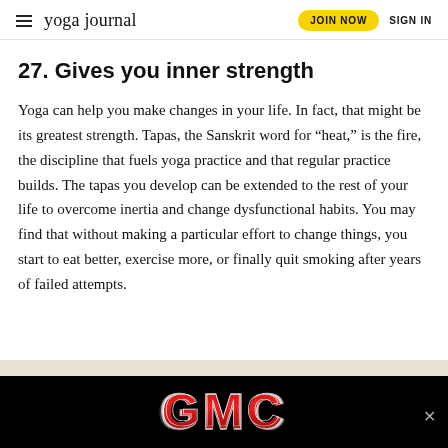yoga journal | JOIN NOW | SIGN IN
27. Gives you inner strength
Yoga can help you make changes in your life. In fact, that might be its greatest strength. Tapas, the Sanskrit word for "heat," is the fire, the discipline that fuels yoga practice and that regular practice builds. The tapas you develop can be extended to the rest of your life to overcome inertia and change dysfunctional habits. You may find that without making a particular effort to change things, you start to eat better, exercise more, or finally quit smoking after years of failed attempts.
[Figure (logo): GMC logo advertisement banner in red and silver letters on a black background]